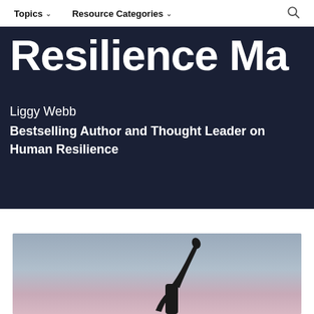Topics ▾   Resource Categories ▾   🔍
Resilience Master
Liggy Webb
Bestselling Author and Thought Leader on Human Resilience
[Figure (photo): Silhouette of a person raising their arm against a twilight sky with purple and grey tones]